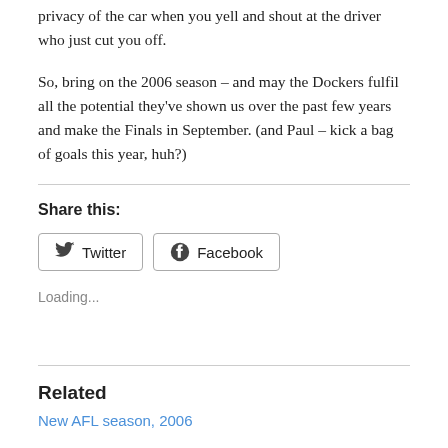privacy of the car when you yell and shout at the driver who just cut you off.
So, bring on the 2006 season – and may the Dockers fulfil all the potential they've shown us over the past few years and make the Finals in September. (and Paul – kick a bag of goals this year, huh?)
Share this:
[Figure (other): Twitter and Facebook share buttons]
Loading...
Related
New AFL season, 2006